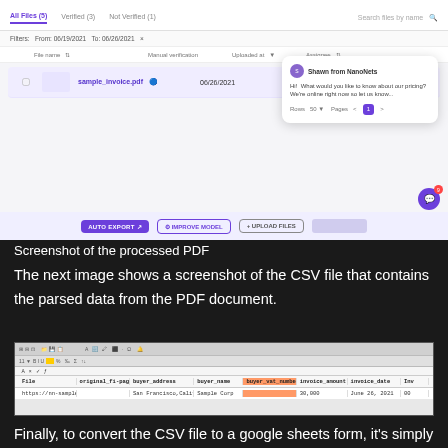[Figure (screenshot): Screenshot of a PDF processing web application UI showing file list with 'sample_invoice.pdf', tabs for All Files, Verified, Not Verified, a chat popup from 'Shawn from NanoNets' saying 'Hi! What would you like to know about our pricing? We're online right now so let us know...', and buttons AUTO EXPORT, IMPROVE MODEL, UPLOAD FILES at the bottom.]
Screenshot of the processed PDF
The next image shows a screenshot of the CSV file that contains the parsed data from the PDF document.
[Figure (screenshot): Screenshot of a spreadsheet (LibreOffice Calc) showing CSV data with columns: File, original_file_page, buyer_address, buyer_name, buyer_vat_number, invoice_amount, invoice_date, Inv... with one data row: https://nn-sample_b-0, San Francisco California, Sample Corp, 30,000, June 26 2021, 00]
Finally, to convert the CSV file to a google sheets form, it's simply a matter of uploading the XLSX/CSV file into your google drive. This